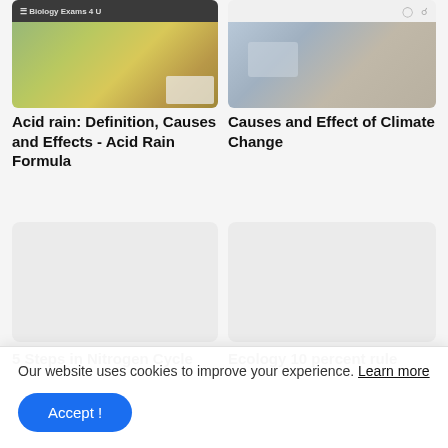[Figure (screenshot): Biology Exams 4 U website header with thumbnail image for Acid Rain article]
[Figure (screenshot): Thumbnail image for Causes and Effect of Climate Change article]
Acid rain: Definition, Causes and Effects - Acid Rain Formula
Causes and Effect of Climate Change
[Figure (photo): Placeholder image for 5 Steps in Nitrogen Cycle article]
[Figure (photo): Placeholder image for Ecology 10 percent rule article]
5 Steps in Nitrogen Cycle
Ecology 10 percent rule
Our website uses cookies to improve your experience. Learn more
Accept !